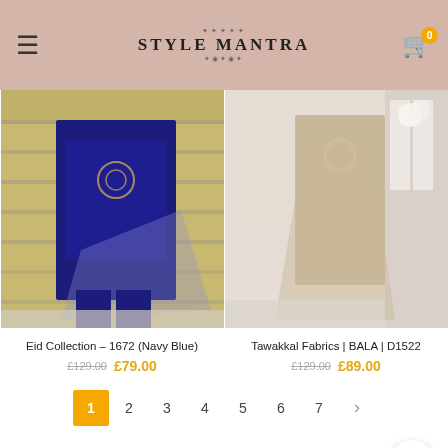STYLE MANTRA
[Figure (photo): Navy blue embroidered Pakistani/Indian suit with sheer dupatta, worn by model against brick wall]
[Figure (photo): Beige/nude embroidered Pakistani/Indian suit with dupatta, worn by model in studio setting]
Eid Collection – 1672 (Navy Blue)
£129.00 £79.00
Tawakkal Fabrics | BALA | D1522
£129.00 £89.00
1 2 3 4 5 6 7 >